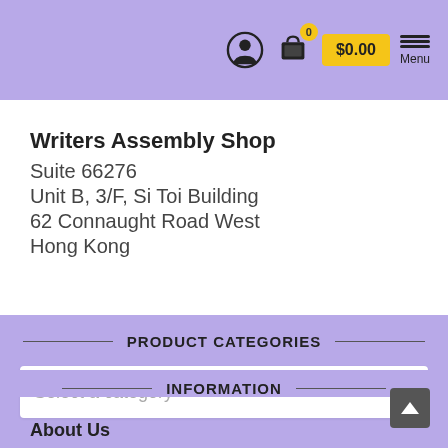$0.00  Menu
Writers Assembly Shop
Suite 66276
Unit B, 3/F, Si Toi Building
62 Connaught Road West
Hong Kong
PRODUCT CATEGORIES
Select a category
INFORMATION
About Us